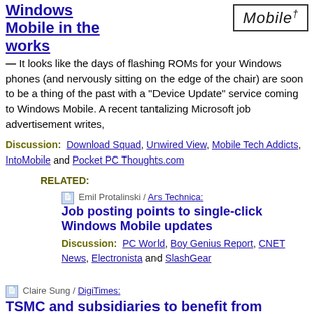Windows Mobile in the works
[Figure (logo): Windows Mobile logo in a bordered box]
— It looks like the days of flashing ROMs for your Windows phones (and nervously sitting on the edge of the chair) are soon to be a thing of the past with a "Device Update" service coming to Windows Mobile. A recent tantalizing Microsoft job advertisement writes,
Discussion: Download Squad, Unwired View, Mobile Tech Addicts, IntoMobile and Pocket PC Thoughts.com
RELATED:
Emil Protalinski / Ars Technica:
Job posting points to single-click Windows Mobile updates
Discussion: PC World, Boy Genius Report, CNET News, Electronista and SlashGear
Claire Sung / DigiTimes:
TSMC and subsidiaries to benefit from launch of next-generation iPhone
— Taiwan